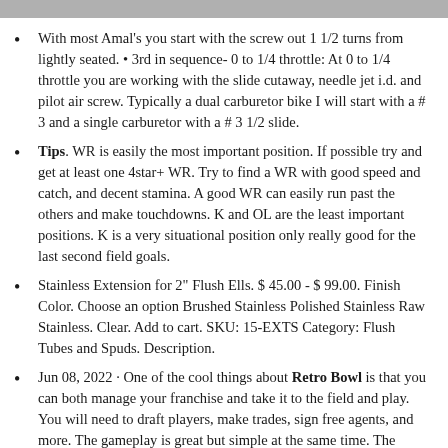With most Amal's you start with the screw out 1 1/2 turns from lightly seated. • 3rd in sequence- 0 to 1/4 throttle: At 0 to 1/4 throttle you are working with the slide cutaway, needle jet i.d. and pilot air screw. Typically a dual carburetor bike I will start with a # 3 and a single carburetor with a # 3 1/2 slide.
Tips. WR is easily the most important position. If possible try and get at least one 4star+ WR. Try to find a WR with good speed and catch, and decent stamina. A good WR can easily run past the others and make touchdowns. K and OL are the least important positions. K is a very situational position only really good for the last second field goals.
Stainless Extension for 2" Flush Ells. $ 45.00 - $ 99.00. Finish Color. Choose an option Brushed Stainless Polished Stainless Raw Stainless. Clear. Add to cart. SKU: 15-EXTS Category: Flush Tubes and Spuds. Description.
Jun 08, 2022 · One of the cool things about Retro Bowl is that you can both manage your franchise and take it to the field and play. You will need to draft players, make trades, sign free agents, and more. The gameplay is great but simple at the same time. The passing, running, and kicking feel satisfying but it does take some quick reactions.
The Fandom page for Retro Bowl players that want to learn about the game more! We welcome everybody here, from...